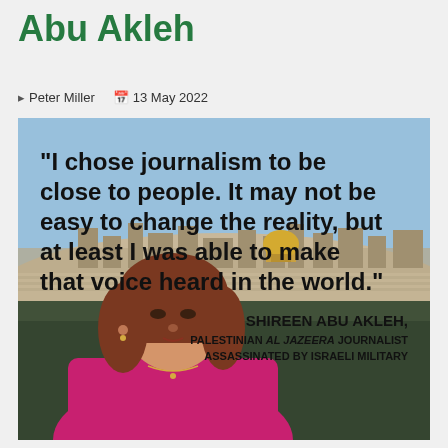Abu Akleh
Peter Miller  13 May 2022
[Figure (photo): Quote image of Shireen Abu Akleh. Large bold text reads: "I chose journalism to be close to people. It may not be easy to change the reality, but at least I was able to make that voice heard in the world." Below right: SHIREEN ABU AKLEH, PALESTINIAN AL JAZEERA JOURNALIST ASSASSINATED BY ISRAELI MILITARY. Background shows a skyline with the Dome of the Rock. Foreground shows a woman in a magenta top with reddish-brown hair.]